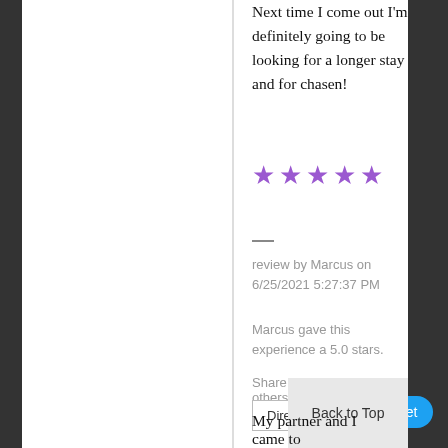Next time I come out I'm definitely going to be looking for a longer stay and for chasen!
[Figure (other): Five purple star rating icons]
—
review by Marcus on 6/25/2021 5:27:37 PM
Marcus gave this experience a 5.0 stars.
Share this review with others via
Direct Link
Tweet
Back to Top
My partner and I came to